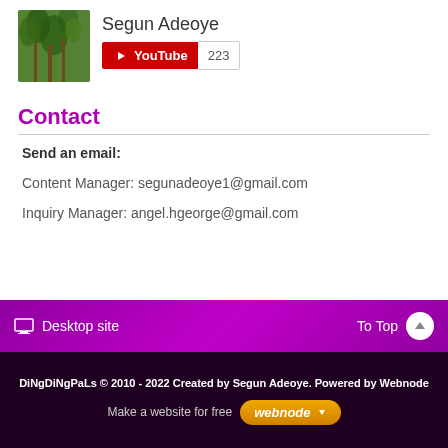[Figure (photo): Profile photo of Segun Adeoye showing trees/nature background]
Segun Adeoye
[Figure (other): YouTube subscribe button with count 223]
Contact
Send an email:
Content Manager: segunadeoye1@gmail.com
Inquiry Manager: angel.hgeorge@gmail.com
Desktop site   To Top
DiNgDiNgPaLs © 2010 - 2022 Created by Segun Adeoye. Powered by Webnode
Make a website for free  webnode